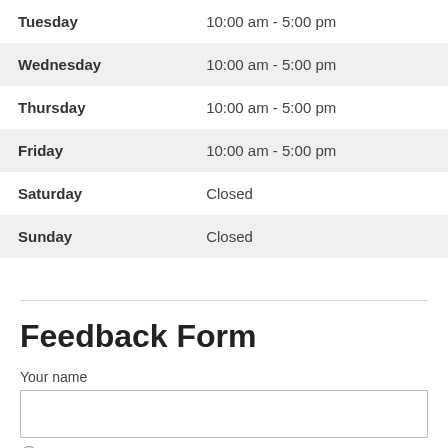| Day | Hours |
| --- | --- |
| Tuesday | 10:00 am - 5:00 pm |
| Wednesday | 10:00 am - 5:00 pm |
| Thursday | 10:00 am - 5:00 pm |
| Friday | 10:00 am - 5:00 pm |
| Saturday | Closed |
| Sunday | Closed |
Feedback Form
Your name
1 - Very Bad